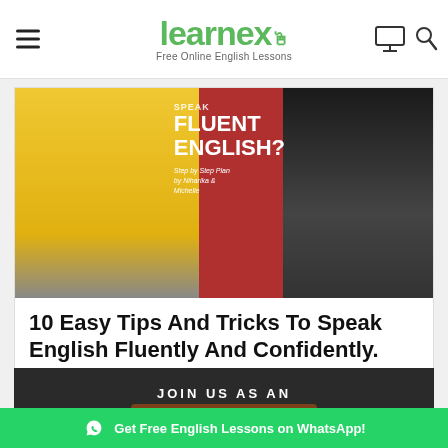learnex — Free Online English Lessons
[Figure (photo): Two women seated, one in yellow outfit and one in dark blazer, with overlay text 'SPEAK FLUENT ENGLISH? Step by Step Plan by Niharika & Michelle' on a red brick background]
10 Easy Tips And Tricks To Speak English Fluently And Confidently.
[Figure (photo): Dark background banner reading 'JOIN US AS AN ESL TRAINER' with an illustrated character]
Get Free English Lessons on WhatsApp!